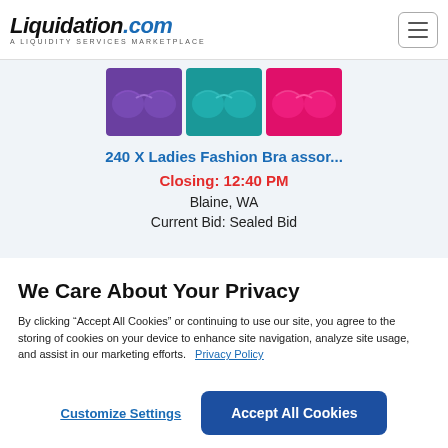Liquidation.com — A LIQUIDITY SERVICES MARKETPLACE
[Figure (photo): Three ladies fashion bras in purple, teal, and pink colors shown as product images]
240 X Ladies Fashion Bra assor...
Closing: 12:40 PM
Blaine, WA
Current Bid: Sealed Bid
We Care About Your Privacy
By clicking “Accept All Cookies” or continuing to use our site, you agree to the storing of cookies on your device to enhance site navigation, analyze site usage, and assist in our marketing efforts.   Privacy Policy
Customize Settings
Accept All Cookies